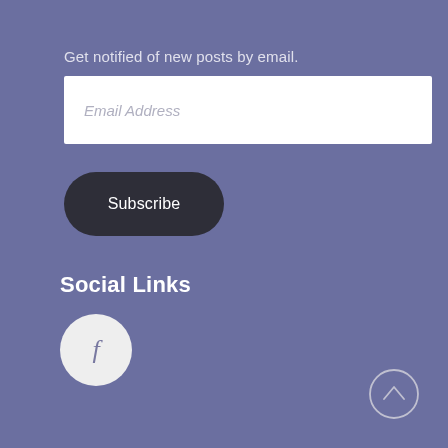Get notified of new posts by email.
Email Address
Subscribe
Social Links
[Figure (logo): Facebook icon in a light circular button]
[Figure (other): Back to top arrow button, circular outline with upward chevron]